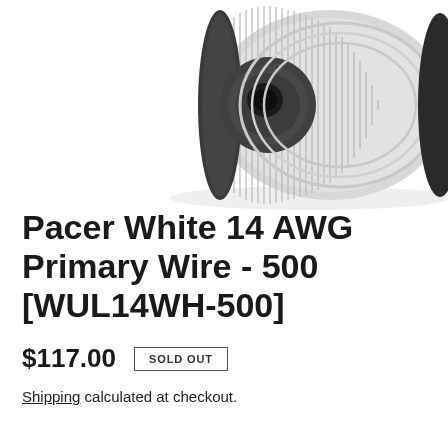[Figure (photo): A spool/reel of white 14 AWG primary wire. The spool has dark grey/black plastic flanges and is wound with white wire visible in parallel coils along the side. The image is cropped showing the upper portion of the spool on a white background.]
Pacer White 14 AWG Primary Wire - 500 [WUL14WH-500]
$117.00  SOLD OUT
Shipping calculated at checkout.